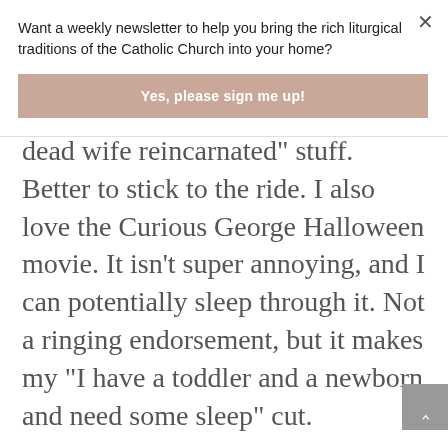Want a weekly newsletter to help you bring the rich liturgical traditions of the Catholic Church into your home?
Yes, please sign me up!
dead wife reincarnated" stuff. Better to stick to the ride. I also love the Curious George Halloween movie. It isn't super annoying, and I can potentially sleep through it. Not a ringing endorsement, but it makes my "I have a toddler and a newborn and need some sleep" cut.